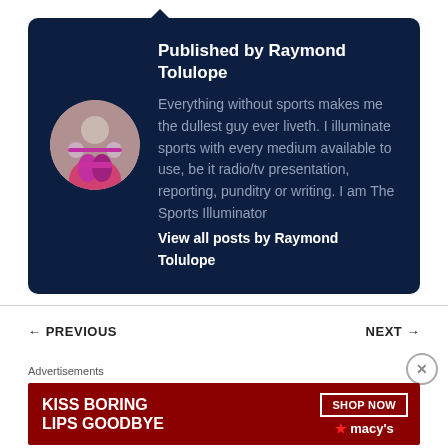Published by Raymond Tolulope
Everything without sports makes me the dullest guy ever liveth. I illuminate sports with every medium available to use, be it radio/tv presentation, reporting, punditry or writing. I am The Sports Illuminator
View all posts by Raymond Tolulope
← PREVIOUS
NEXT →
Advertisements
[Figure (photo): Advertisement banner reading KISS BORING LIPS GOODBYE with SHOP NOW button and Macy's logo on dark red background with woman's face]